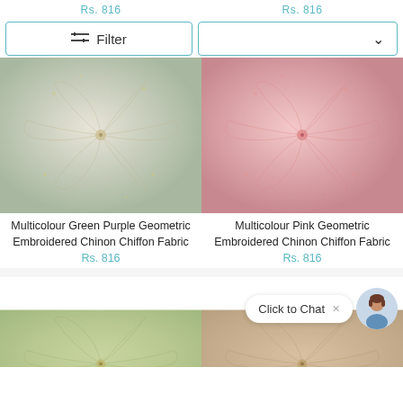Rs. 816 | Rs. 816
Filter | Sort (chevron)
[Figure (photo): Close-up photo of Multicolour Green Purple Geometric Embroidered Chinon Chiffon Fabric with spiral floral texture in pale green/cream tones]
[Figure (photo): Close-up photo of Multicolour Pink Geometric Embroidered Chinon Chiffon Fabric with spiral floral texture in pink tones]
Multicolour Green Purple Geometric Embroidered Chinon Chiffon Fabric
Rs. 816
Multicolour Pink Geometric Embroidered Chinon Chiffon Fabric
Rs. 816
[Figure (photo): Close-up photo of a green/yellow multicolour geometric embroidered fabric with spiral floral texture]
[Figure (photo): Close-up photo of a peach/tan multicolour geometric embroidered fabric with spiral floral texture]
Click to Chat